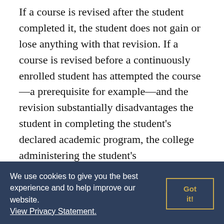If a course is revised after the student completed it, the student does not gain or lose anything with that revision. If a course is revised before a continuously enrolled student has attempted the course—a prerequisite for example—and the revision substantially disadvantages the student in completing the student's declared academic program, the college administering the student's program may authorize a course substitution, waiver, or some other appropriate alternative.
We use cookies to give you the best experience and to help improve our website. View Privacy Statement.